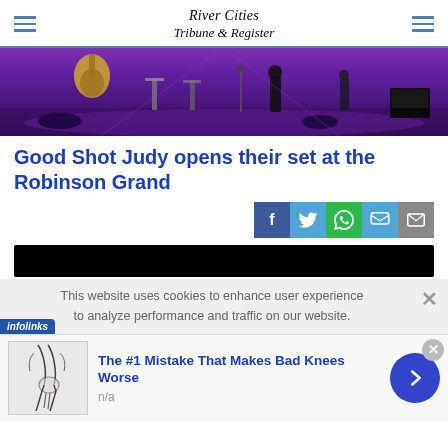River Cities Tribune & Register
[Figure (photo): Concert stage photo with purple lighting, showing instruments and stage setup at the Robinson Grand]
Good Shot Judy opens their set at the Robinson Grand
[Figure (infographic): Social share buttons: Facebook, Twitter, WhatsApp, Message, Email]
[Figure (other): Black advertisement bar]
This website uses cookies to enhance user experience to analyze performance and traffic on our website.
[Figure (infographic): Infolinks badge and advertisement: The #1 Mistake That Makes Bad Knees Worse, n/a, with knee illustration and navigation arrow]